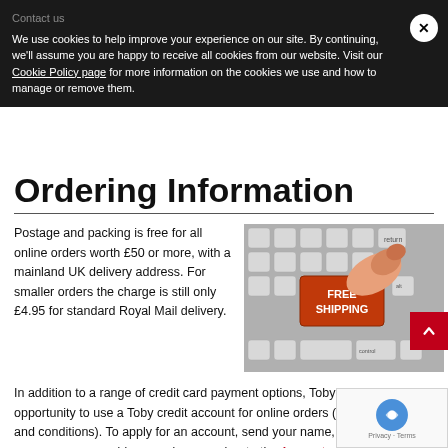Contact us
We use cookies to help improve your experience on our site. By continuing, we'll assume you are happy to receive all cookies from our website. Visit our Cookie Policy page for more information on the cookies we use and how to manage or remove them.
Ordering Information
Postage and packing is free for all online orders worth £50 or more, with a mainland UK delivery address. For smaller orders the charge is still only £4.95 for standard Royal Mail delivery.
[Figure (photo): A keyboard with an orange key labeled FREE SHIPPING being pressed by a finger]
In addition to a range of credit card payment options, Toby also offers the opportunity to use a Toby credit account for online orders (subject to terms and conditions). To apply for an account, send your name, job title, company name, address and registration number to the Accounts Department